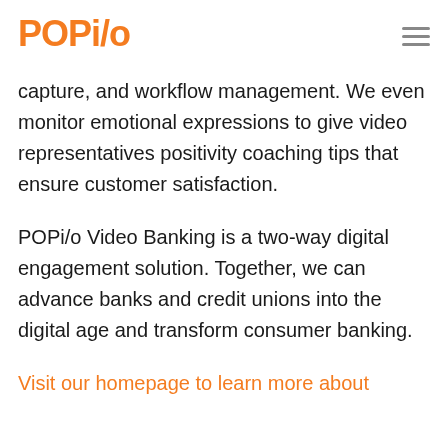POPi/o
capture, and workflow management. We even monitor emotional expressions to give video representatives positivity coaching tips that ensure customer satisfaction.
POPi/o Video Banking is a two-way digital engagement solution. Together, we can advance banks and credit unions into the digital age and transform consumer banking.
Visit our homepage to learn more about